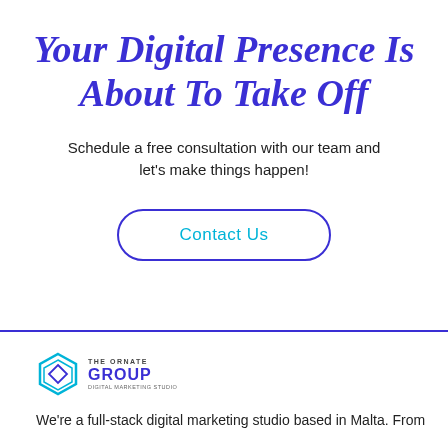Your Digital Presence Is About To Take Off
Schedule a free consultation with our team and let's make things happen!
[Figure (other): Contact Us button with rounded border in dark blue/indigo, cyan text]
[Figure (logo): The Ornate Group logo — hexagonal icon in teal/cyan with company name]
We're a full-stack digital marketing studio based in Malta. From